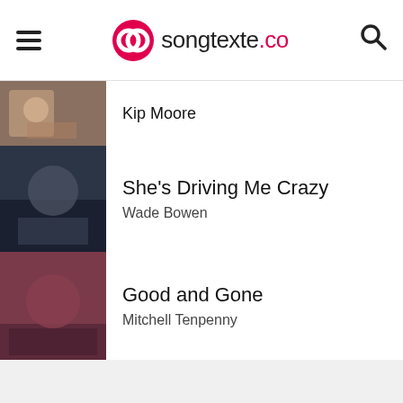songtexte.co
Kip Moore
She's Driving Me Crazy / Wade Bowen
Good and Gone / Mitchell Tenpenny